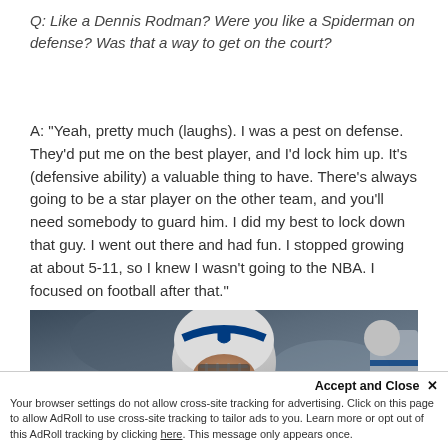Q:  Like a Dennis Rodman?  Were you like a Spiderman on defense?  Was that a way to get on the court?
A:  "Yeah, pretty much (laughs).  I was a pest on defense.  They'd put me on the best player, and I'd lock him up.  It's (defensive ability) a valuable thing to have.  There's always going to be a star player on the other team, and you'll need somebody to guard him.  I did my best to lock down that guy.  I went out there and had fun.  I stopped growing at about 5-11, so I knew I wasn't going to the NBA.  I focused on football after that."
[Figure (photo): Photo of an NFL player wearing a white Indianapolis Colts helmet with blue horseshoe logo, looking downward, with a blurred stadium background. Another player partially visible on the right edge.]
Accept and Close ✕
Your browser settings do not allow cross-site tracking for advertising. Click on this page to allow AdRoll to use cross-site tracking to tailor ads to you. Learn more or opt out of this AdRoll tracking by clicking here. This message only appears once.